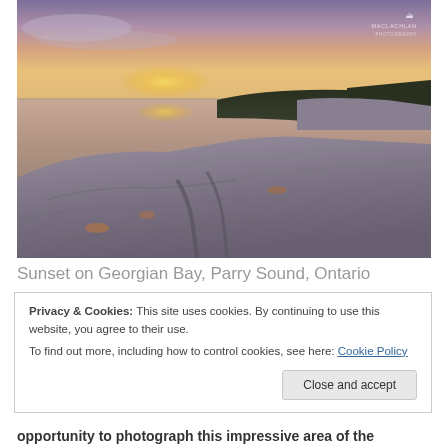[Figure (photo): Landscape photograph: Sunset on Georgian Bay, Parry Sound, Ontario. Foreground shows large flat granite rocks sloping into calm water. Background shows distant treeline on a peninsula to the right, calm water reflecting the sunset sky. Sky is purple, pink, and golden orange at sunset. Watermark logo in top-right corner reads 'MACLACHLAN PHOTOGRAPHY'.]
Sunset on Georgian Bay, Parry Sound, Ontario
Privacy & Cookies: This site uses cookies. By continuing to use this website, you agree to their use.
To find out more, including how to control cookies, see here: Cookie Policy
Close and accept
opportunity to photograph this impressive area of the